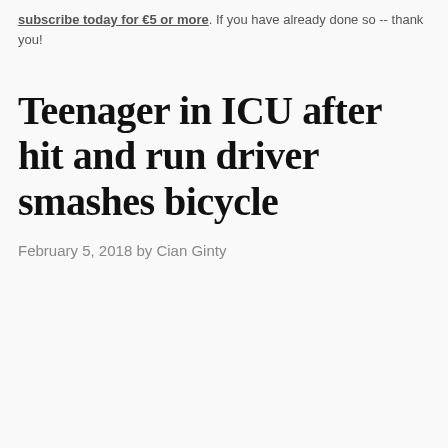subscribe today for €5 or more. If you have already done so -- thank you!
Teenager in ICU after hit and run driver smashes bicycle
February 5, 2018 by Cian Ginty